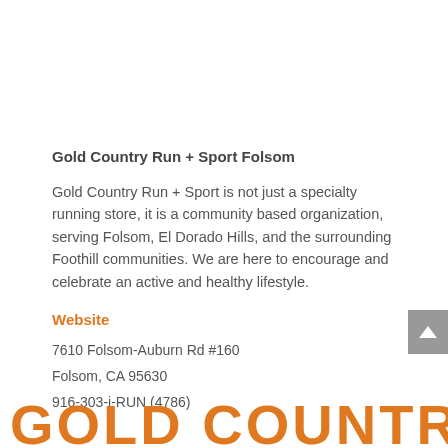Gold Country Run + Sport Folsom
Gold Country Run + Sport is not just a specialty running store, it is a community based organization, serving Folsom, El Dorado Hills, and the surrounding Foothill communities. We are here to encourage and celebrate an active and healthy lifestyle.
Website
7610 Folsom-Auburn Rd #160
Folsom, CA 95630
916-303-i-RUN (4786)
[Figure (logo): Gold Country Run + Sport logo text in orange at the bottom of the page]